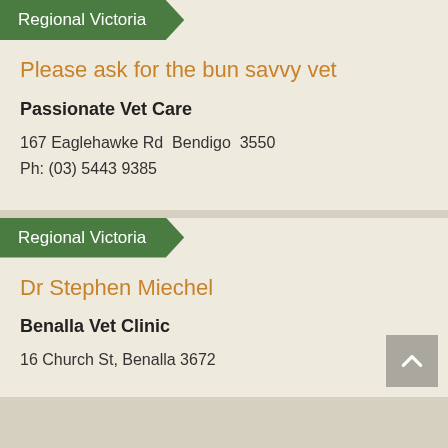Regional Victoria
Please ask for the bun savvy vet
Passionate Vet Care
167 Eaglehawke Rd  Bendigo  3550
Ph: (03) 5443 9385
Regional Victoria
Dr Stephen Miechel
Benalla Vet Clinic
16 Church St, Benalla 3672